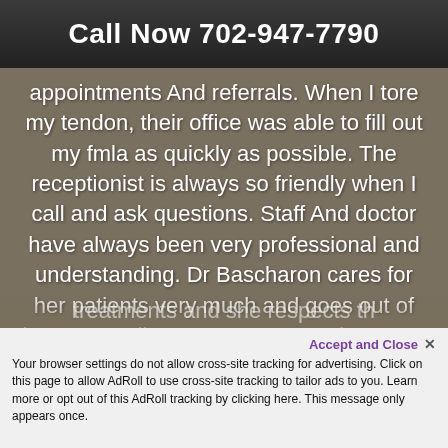Call Now 702-947-7790
appointments And referrals. When I tore my tendon, their office was able to fill out my fmla as quickly as possible. The receptionist is always so friendly when I call and ask questions. Staff And doctor have always been very professional and understanding. Dr Bascharon cares for her patients very much and goes out of her way to discuss treatment options. I've Always been pretty conservative with my treatments and she respects th…
Accept and Close ✕
Your browser settings do not allow cross-site tracking for advertising. Click on this page to allow AdRoll to use cross-site tracking to tailor ads to you. Learn more or opt out of this AdRoll tracking by clicking here. This message only appears once.